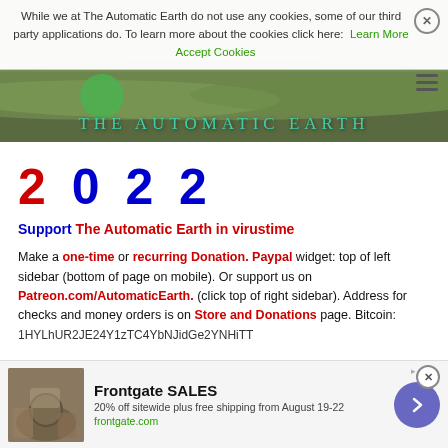While we at The Automatic Earth do not use any cookies, some of our third party applications do. To learn more about the cookies click here: Learn More  Accept Cookies
[Figure (photo): The Automatic Earth website header with landscape aerial photo and teal text logo]
2 0 2 2
Support The Automatic Earth in virustime
Make a one-time or recurring Donation. Paypal widget: top of left sidebar (bottom of page on mobile). Or support us on Patreon.com/AutomaticEarth. (click top of right sidebar). Address for checks and money orders is on Store and Donations page. Bitcoin: 1HYLhUR2JE24Y1zTC4YbNJidGe2YNHiTT
[Figure (screenshot): Frontgate SALES advertisement banner - 20% off sitewide plus free shipping from August 19-22, frontgate.com]